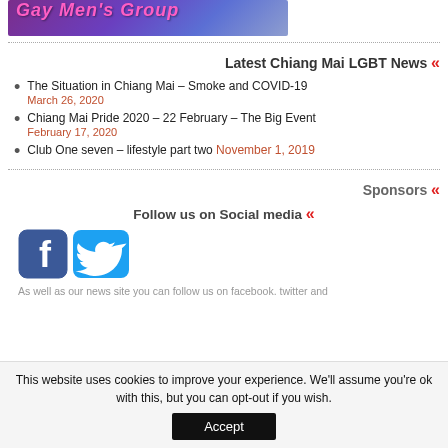[Figure (logo): Gay Men's Group banner logo with stylized text in pink on purple/blue gradient background]
Latest Chiang Mai LGBT News «
The Situation in Chiang Mai – Smoke and COVID-19
March 26, 2020
Chiang Mai Pride 2020 – 22 February – The Big Event
February 17, 2020
Club One seven – lifestyle part two November 1, 2019
Sponsors «
Follow us on Social media «
[Figure (logo): Facebook and Twitter social media icons]
As well as our news site you can follow us on facebook. twitter and
This website uses cookies to improve your experience. We'll assume you're ok with this, but you can opt-out if you wish.